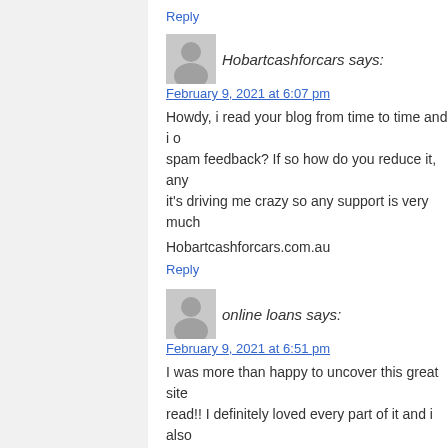Reply
[Figure (illustration): User avatar silhouette icon for Hobartcashforcars]
Hobartcashforcars says:
February 9, 2021 at 6:07 pm
Howdy, i read your blog from time to time and i o spam feedback? If so how do you reduce it, any it's driving me crazy so any support is very much
Hobartcashforcars.com.au
Reply
[Figure (illustration): User avatar silhouette icon for online loans]
online loans says:
February 9, 2021 at 6:51 pm
I was more than happy to uncover this great site read!! I definitely loved every part of it and i also
https://nursingtesthelper.com/
Reply
[Figure (illustration): User avatar silhouette icon for third commenter]
□□□□□ says:
February 10, 2021 at 2:25 am